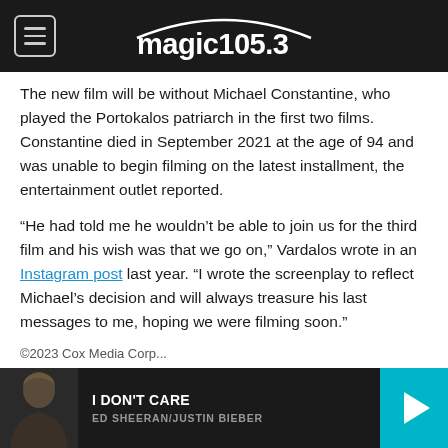magic 105.3 — TODAY'S BEST MUSIC
The new film will be without Michael Constantine, who played the Portokalos patriarch in the first two films. Constantine died in September 2021 at the age of 94 and was unable to begin filming on the latest installment, the entertainment outlet reported.
“He had told me he wouldn’t be able to join us for the third film and his wish was that we go on,” Vardalos wrote in an Instagram post last year. “I wrote the screenplay to reflect Michael’s decision and will always treasure his last messages to me, hoping we were filming soon.”
I DON'T CARE — ED SHEERAN/JUSTIN BIEBER